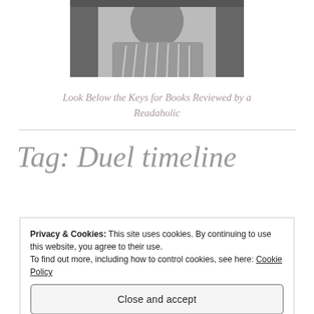[Figure (photo): Black and white photo of a person, cropped showing upper body, partially visible at top of page]
Look Below the Keys for Books Reviewed by a Readaholic
Tag: Duel timeline
Privacy & Cookies: This site uses cookies. By continuing to use this website, you agree to their use.
To find out more, including how to control cookies, see here: Cookie Policy
Close and accept